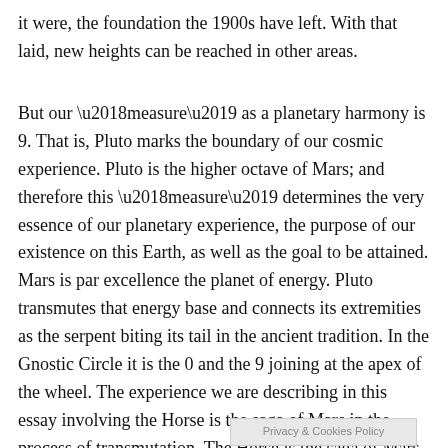it were, the foundation the 1900s have left. With that laid, new heights can be reached in other areas.
But our ‘measure’ as a planetary harmony is 9. That is, Pluto marks the boundary of our cosmic experience. Pluto is the higher octave of Mars; and therefore this ‘measure’ determines the very essence of our planetary experience, the purpose of our existence on this Earth, as well as the goal to be attained. Mars is par excellence the planet of energy. Pluto transmutes that energy base and connects its extremities as the serpent biting its tail in the ancient tradition. In the Gnostic Circle it is the 0 and the 9 joining at the apex of the wheel. The experience we are describing in this essay involving the Horse is the saga of Mars in the process of transmutation. The Horse is the saga of Mars in the process of transmutation. The Horse is virtually an energy machine. Carrie ng this